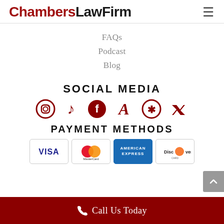[Figure (logo): Chambers Law Firm logo with red 'Chambers' text and dark 'LawFirm' text, plus hamburger menu icon]
FAQs
Podcast
Blog
SOCIAL MEDIA
[Figure (infographic): Social media icons in dark red: Instagram, TikTok, Facebook, Avvo, Yelp, Twitter]
PAYMENT METHODS
[Figure (infographic): Payment method cards: Visa, MasterCard, American Express, Discover]
Call Us Today